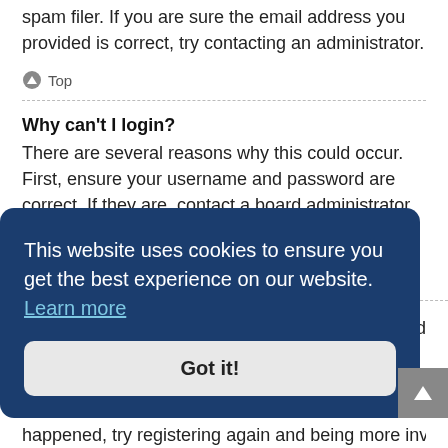spam filer. If you are sure the email address you provided is correct, try contacting an administrator.
⬆ Top
Why can't I login?
There are several reasons why this could occur. First, ensure your username and password are correct. If they are, contact a board administrator to make sure you haven't been banned. It is also possible the website owner has a configuration error on their end, and they would need to fix it.
This website uses cookies to ensure you get the best experience on our website. Learn more
Got it!
happened, try registering again and being more involved